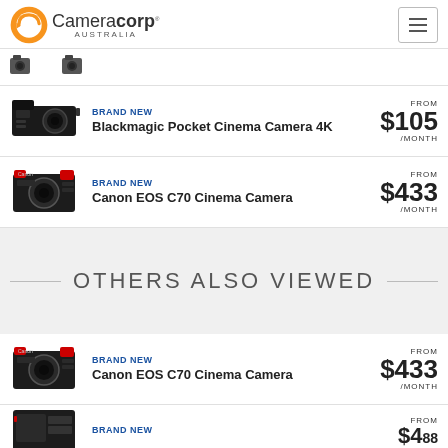Cameracorp Australia
[Figure (photo): Partial view of camera thumbnails at top of page]
BRAND NEW — Blackmagic Pocket Cinema Camera 4K — FROM $105 /MONTH
BRAND NEW — Canon EOS C70 Cinema Camera — FROM $433 /MONTH
OTHERS ALSO VIEWED
BRAND NEW — Canon EOS C70 Cinema Camera — FROM $433 /MONTH
BRAND NEW — [partial] — FROM $4.88[cut off]